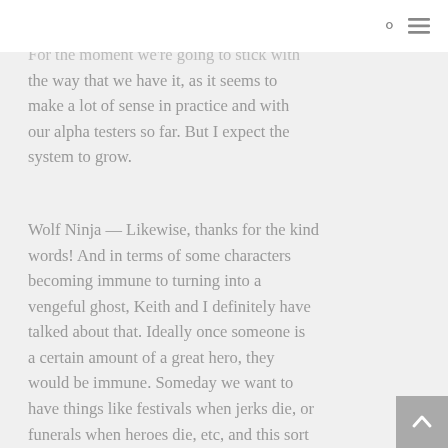For the moment we're going to stick with the way that we have it, as it seems to make a lot of sense in practice and with our alpha testers so far. But I expect the system to grow.
Wolf Ninja — Likewise, thanks for the kind words! And in terms of some characters becoming immune to turning into a vengeful ghost, Keith and I definitely have talked about that. Ideally once someone is a certain amount of a great hero, they would be immune. Someday we want to have things like festivals when jerks die, or funerals when heroes die, etc, and this sort of thing would fit into that. Those are just broad ideas, of course, but I think that something along those lines would be fun to do once the core game is further along.